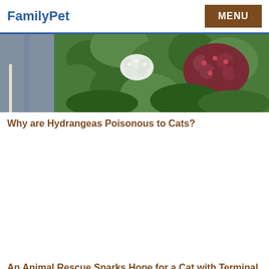FamilyPet  MENU
[Figure (photo): A garden photo showing hydrangea flowers — white and pink/red blooms with lush green foliage along a pathway]
Why are Hydrangeas Poisonous to Cats?
An Animal Rescue Sparks Hope for a Cat with Terminal Cancer